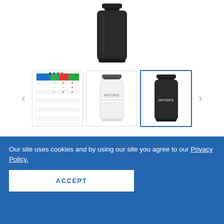[Figure (photo): Black shaker bottle product image shown from above]
[Figure (photo): Three thumbnail images: a comparison chart, a white FITOPS shaker bottle, and a black FITOPS shaker bottle (selected/highlighted in blue border)]
Fit Ops - Custom 26oz Shaker
3 Reviews
Our site uses cookies and by using our site you agree to our Privacy Policy.
ACCEPT